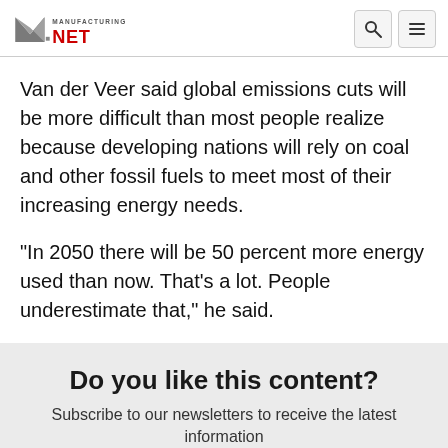Manufacturing.net
Van der Veer said global emissions cuts will be more difficult than most people realize because developing nations will rely on coal and other fossil fuels to meet most of their increasing energy needs.
"In 2050 there will be 50 percent more energy used than now. That's a lot. People underestimate that," he said.
Do you like this content?
Subscribe to our newsletters to receive the latest information